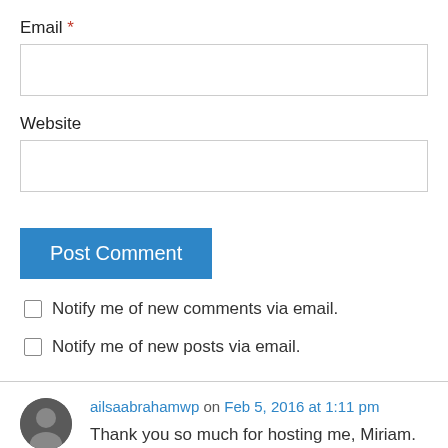Email *
Website
Post Comment
Notify me of new comments via email.
Notify me of new posts via email.
ailsaabrahamwp on Feb 5, 2016 at 1:11 pm
Thank you so much for hosting me, Miriam. Yes